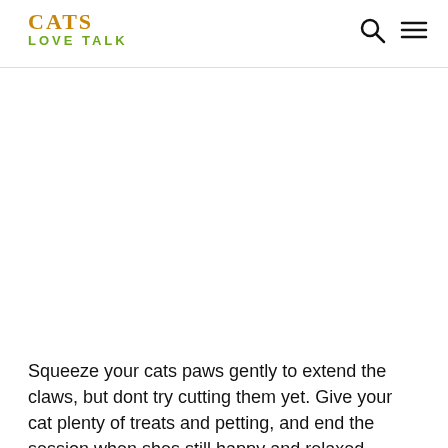CATS LOVE TALK
[Figure (photo): White/blank image area representing a cat photo placeholder]
Squeeze your cats paws gently to extend the claws, but dont try cutting them yet. Give your cat plenty of treats and petting, and end the session when shes still happy and relaxed.